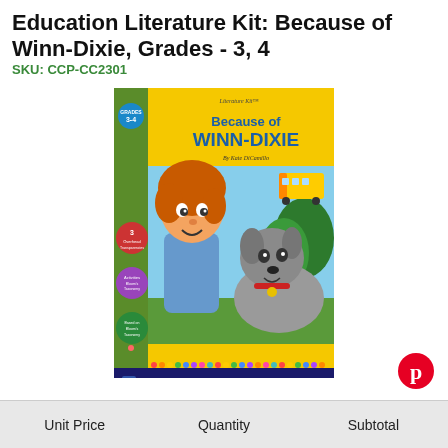Education Literature Kit: Because of Winn-Dixie, Grades - 3, 4
SKU: CCP-CC2301
[Figure (illustration): Book cover for 'Because of Winn-Dixie' Literature Kit by Classroom Complete Press, Grades 3-4. Features a cartoon illustration of a red-haired child and a dog on yellow/green background.]
[Figure (logo): Pinterest logo - red circle with white P]
| Unit Price | Quantity | Subtotal |
| --- | --- | --- |